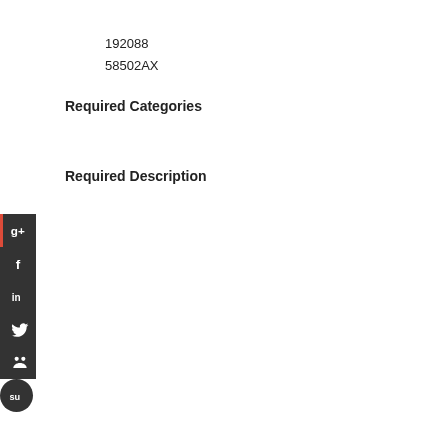192088
58502AX
Required Categories
Required Description
[Figure (other): Social sharing icons: Google+, Facebook, LinkedIn, Twitter, Pinterest/people, StumbleUpon — stacked vertically on the left edge]